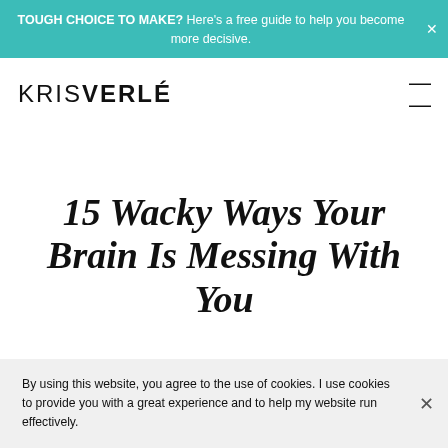TOUGH CHOICE TO MAKE? Here's a free guide to help you become more decisive.
KRISVERLÉ
15 Wacky Ways Your Brain Is Messing With You
By using this website, you agree to the use of cookies. I use cookies to provide you with a great experience and to help my website run effectively.